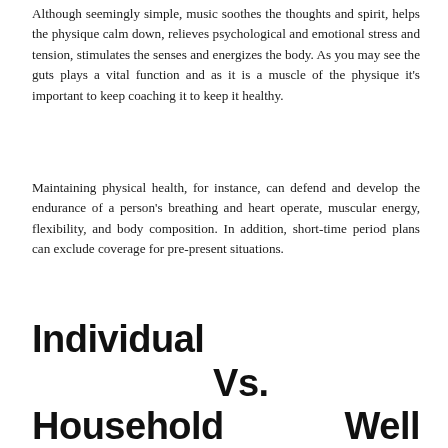Although seemingly simple, music soothes the thoughts and spirit, helps the physique calm down, relieves psychological and emotional stress and tension, stimulates the senses and energizes the body. As you may see the guts plays a vital function and as it is a muscle of the physique it's important to keep coaching it to keep it healthy.
Maintaining physical health, for instance, can defend and develop the endurance of a person's breathing and heart operate, muscular energy, flexibility, and body composition. In addition, short-time period plans can exclude coverage for pre-present situations.
Individual Vs. Household Well being Insurance Plans